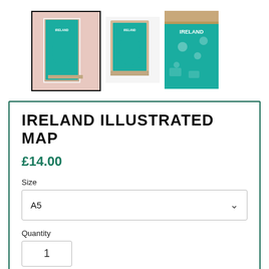[Figure (photo): Three thumbnail images of the Ireland Illustrated Map product. First thumbnail (selected, with dark border) shows the map print leaning against a pink background. Second thumbnail shows the map in a light wood frame on white background. Third thumbnail shows a close-up of the map in a light wood frame.]
IRELAND ILLUSTRATED MAP
£14.00
Size
A5
Quantity